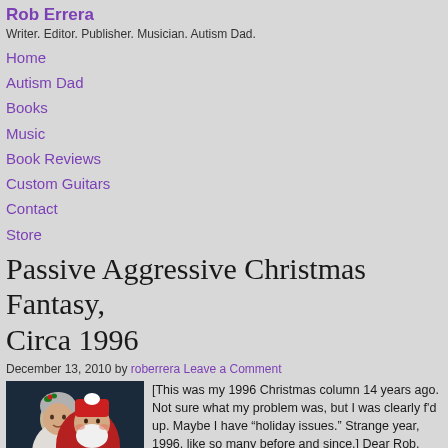Rob Errera
Writer. Editor. Publisher. Musician. Autism Dad.
Home
Autism Dad
Books
Music
Book Reviews
Custom Guitars
Contact
Store
Passive Aggressive Christmas Fantasy, Circa 1996
December 13, 2010 by roberrera Leave a Comment
[Figure (photo): Painting of Mrs. Claus and Santa Claus embracing, with Santa in red suit and Mrs. Claus in white/grey]
[This was my 1996 Christmas column 14 years ago. Not sure what my problem was, but I was clearly f'd up. Maybe I have “holiday issues.” Strange year, 1996, like so many before and since.] Dear Rob, Santa has received the letters you’ve sent to him over the past several years.